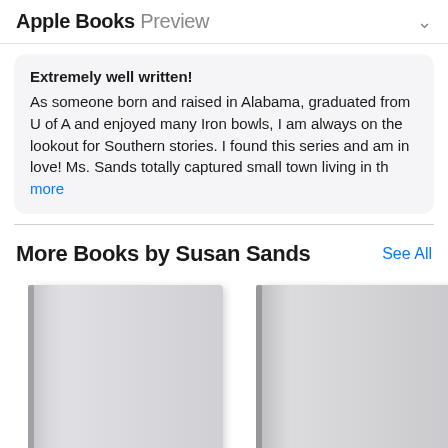Apple Books Preview
Extremely well written! As someone born and raised in Alabama, graduated from U of A and enjoyed many Iron bowls, I am always on the lookout for Southern stories. I found this series and am in love! Ms. Sands totally captured small town living in th more
More Books by Susan Sands
[Figure (illustration): Two book covers shown side by side, partially visible, rendered as gray placeholder covers with spine detail. A third partial cover is visible on the right edge.]